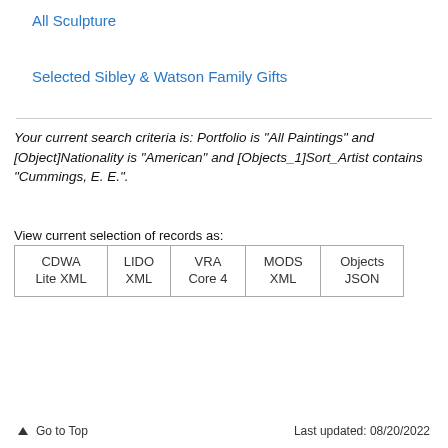All Sculpture
Selected Sibley & Watson Family Gifts
Your current search criteria is: Portfolio is "All Paintings" and [Object]Nationality is "American" and [Objects_1]Sort_Artist contains "Cummings, E. E.".
View current selection of records as:
| CDWA
Lite XML | LIDO
XML | VRA
Core 4 | MODS
XML | Objects
JSON |
↑ Go to Top    Last updated: 08/20/2022